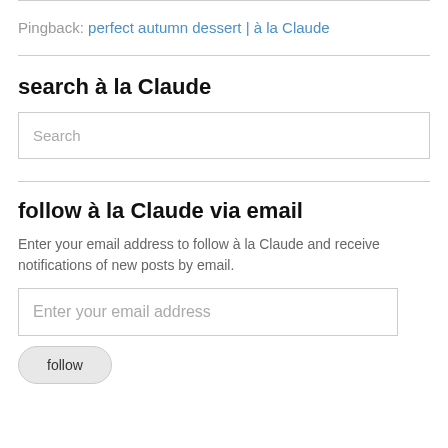Pingback: perfect autumn dessert | à la Claude
search à la Claude
Search
follow à la Claude via email
Enter your email address to follow à la Claude and receive notifications of new posts by email.
Enter your email address
follow